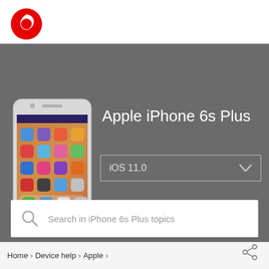[Figure (logo): Vodafone red circle logo in top left header]
Apple iPhone 6s Plus
[Figure (photo): Apple iPhone 6s Plus device photo showing home screen with iOS apps]
iOS 11.0
Search in iPhone 6s Plus topics
Home > Device help > Apple >